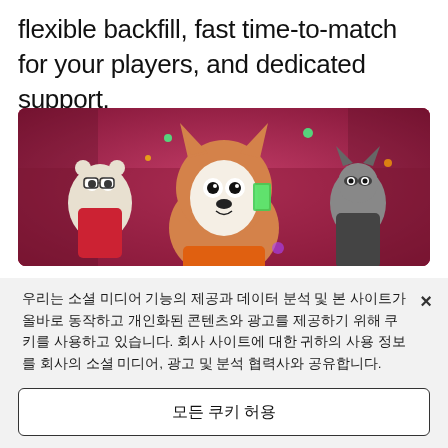flexible backfill, fast time-to-match for your players, and dedicated support.
[Figure (screenshot): A colorful video game screenshot showing cartoon animal characters in a vibrant action scene with a red/pink background. Characters include a bear-like figure with glasses on the left, a large husky/dog character in the center, and a raccoon-like character on the right.]
우리는 소셜 미디어 기능의 제공과 데이터 분석 및 본 사이트가 올바로 동작하고 개인화된 콘텐츠와 광고를 제공하기 위해 쿠키를 사용하고 있습니다. 회사 사이트에 대한 귀하의 사용 정보를 회사의 소셜 미디어, 광고 및 분석 협력사와 공유합니다.
쿠키 설정
모든 쿠키 허용